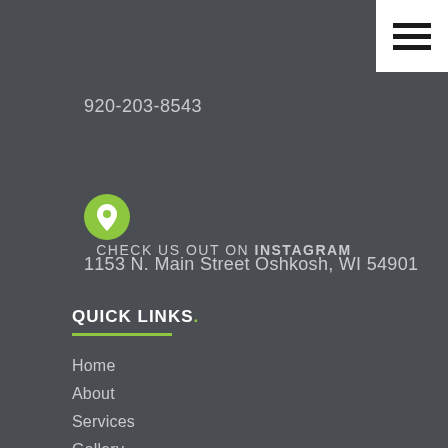[Figure (other): Hamburger menu icon button (three horizontal dark lines on white background), positioned in top-right corner]
920-203-8543
[Figure (other): Green circular map pin / location icon]
1153 N. Main Street Oshkosh, WI 54901
CHECK US OUT ON INSTAGRAM
QUICK LINKS.
Home
About
Services
Gallery
Contact